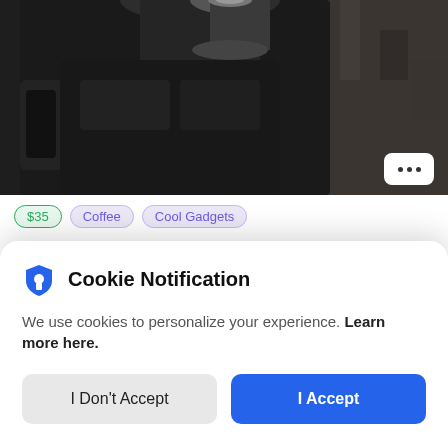[Figure (photo): Close-up photo of a black coffee/espresso machine on a dark background]
$35  Coffee  Cool Gadgets
Coffee & Tea To Go Go Portable Coffee Brewing System
Cookie Notification
We use cookies to personalize your experience. Learn more here.
I Don't Accept
I Accept